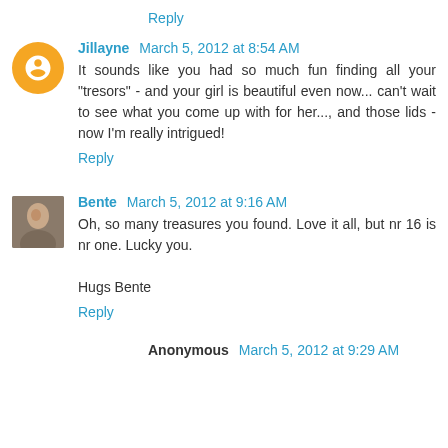Reply
Jillayne  March 5, 2012 at 8:54 AM
It sounds like you had so much fun finding all your "tresors" - and your girl is beautiful even now... can't wait to see what you come up with for her..., and those lids - now I'm really intrigued!
Reply
Bente  March 5, 2012 at 9:16 AM
Oh, so many treasures you found. Love it all, but nr 16 is nr one. Lucky you.

Hugs Bente
Reply
Anonymous  March 5, 2012 at 9:29 AM